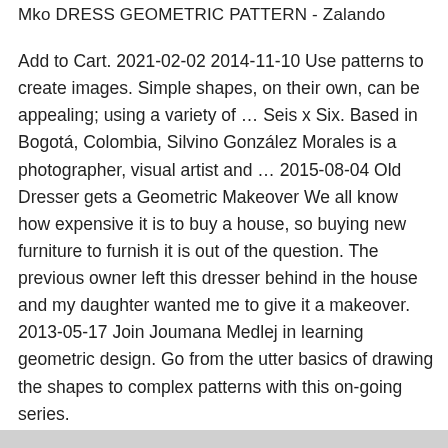Mko DRESS GEOMETRIC PATTERN - Zalando
Add to Cart. 2021-02-02 2014-11-10 Use patterns to create images. Simple shapes, on their own, can be appealing; using a variety of … Seis x Six. Based in Bogotá, Colombia, Silvino González Morales is a photographer, visual artist and … 2015-08-04 Old Dresser gets a Geometric Makeover We all know how expensive it is to buy a house, so buying new furniture to furnish it is out of the question. The previous owner left this dresser behind in the house and my daughter wanted me to give it a makeover. 2013-05-17 Join Joumana Medlej in learning geometric design. Go from the utter basics of drawing the shapes to complex patterns with this on-going series.